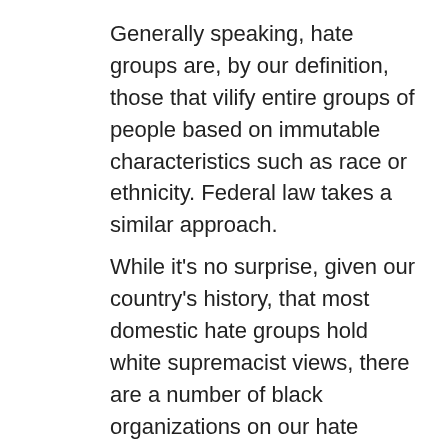Generally speaking, hate groups are, by our definition, those that vilify entire groups of people based on immutable characteristics such as race or ethnicity. Federal law takes a similar approach.
While it's no surprise, given our country's history, that most domestic hate groups hold white supremacist views, there are a number of black organizations on our hate group list as well.
A prime example is the New Black Panther Party (NBPP), whose leaders are known for anti-Semitic and anti-white tirades. Its late chairman, Khalid Abdul Muhammad, famously remarked: “There are no good crackers, and if you find one, kill him before he changes.”
Bobby Seale, a founding member of the original Black Panther Party, has called the